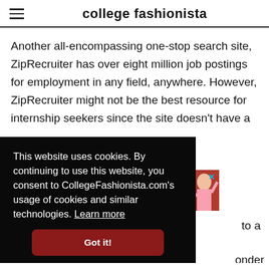college fashionista
Another all-encompassing one-stop search site, ZipRecruiter has over eight million job postings for employment in any field, anywhere. However, ZipRecruiter might not be the best resource for internship seekers since the site doesn't have a
[Figure (infographic): College Fashionista ad banner with text JUMPSTART YOUR CAREER. and a photo of a woman in pink, with an X close button.]
to a
[Figure (screenshot): Cookie consent popup on black background: 'This website uses cookies. By continuing to use this website, you consent to CollegeFashionista.com's usage of cookies and similar technologies. Learn more' with a 'Got it!' button.]
onder